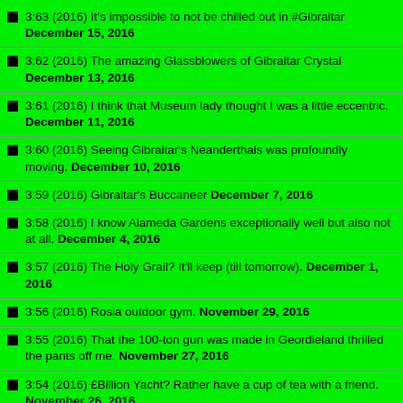3:63 (2016) It's impossible to not be chilled out in #Gibraltar December 15, 2016
3:62 (2016) The amazing Glassblowers of Gibraltar Crystal December 13, 2016
3:61 (2016) I think that Museum lady thought I was a little eccentric. December 11, 2016
3:60 (2016) Seeing Gibraltar's Neanderthals was profoundly moving. December 10, 2016
3:59 (2016) Gibraltar's Buccaneer December 7, 2016
3:58 (2016) I know Alameda Gardens exceptionally well but also not at all. December 4, 2016
3:57 (2016) The Holy Grail? It'll keep (till tomorrow). December 1, 2016
3:56 (2016) Rosia outdoor gym. November 29, 2016
3:55 (2016) That the 100-ton gun was made in Geordieland thrilled the pants off me. November 27, 2016
3:54 (2016) £Billion Yacht? Rather have a cup of tea with a friend. November 26, 2016
3:53 (2016) That was me forty years ago. November 26, 2016